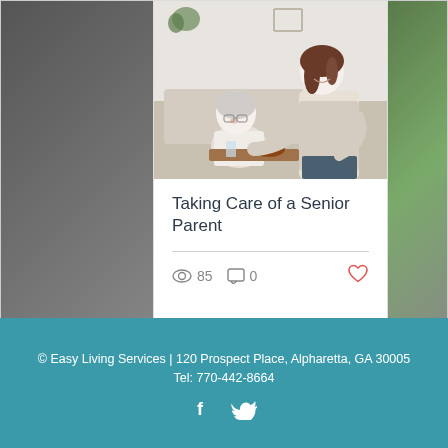[Figure (photo): Main blog card photo showing a younger woman helping an elderly woman with food/bowl, white interior setting]
Taking Care of a Senior Parent
85 views · 0 comments
© Easy Living Services | 120 Prospect Place, Alpharetta, GA 30005
Tel: 770-442-8664